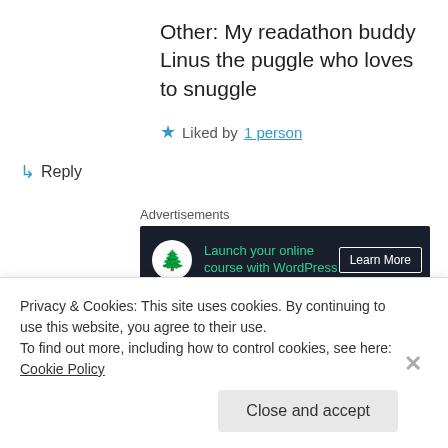Other: My readathon buddy Linus the puggle who loves to snuggle
★ Liked by 1 person
↳ Reply
Advertisements
[Figure (screenshot): Dark advertisement banner: Launch your online course with WordPress, Learn More button]
kaneezie on January 17, 2016 at 6:22 pm
Privacy & Cookies: This site uses cookies. By continuing to use this website, you agree to their use.
To find out more, including how to control cookies, see here: Cookie Policy